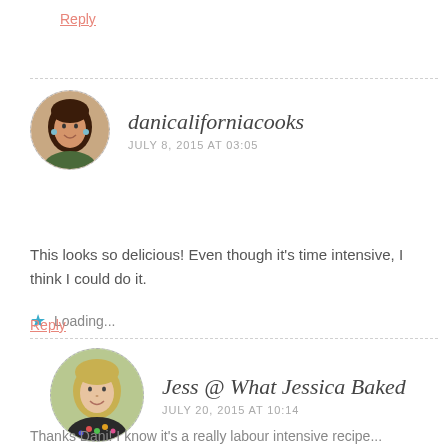Reply
danicaliforniacooks
JULY 8, 2015 AT 03:05
This looks so delicious! Even though it's time intensive, I think I could do it.
Loading...
Reply
Jess @ What Jessica Baked
JULY 20, 2015 AT 10:14
Thanks Dani! I know it's a really labour intensive recipe...